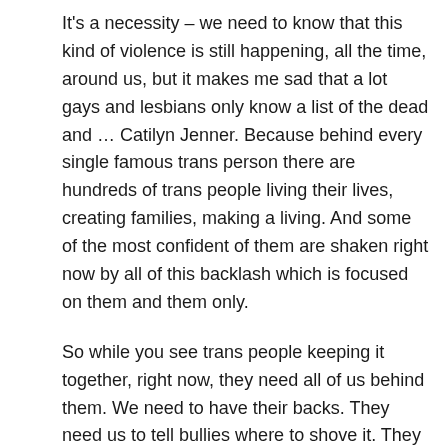It's a necessity – we need to know that this kind of violence is still happening, all the time, around us, but it makes me sad that a lot gays and lesbians only know a list of the dead and … Catilyn Jenner. Because behind every single famous trans person there are hundreds of trans people living their lives, creating families, making a living. And some of the most confident of them are shaken right now by all of this backlash which is focused on them and them only.
So while you see trans people keeping it together, right now, they need all of us behind them. We need to have their backs. They need us to tell bullies where to shove it. They need bathrooms that are safe, schools that are safe, jobs that are safe. They need those of us in the LGB to get over it already. It's not better for all of us yet. The rates of unemployment, violence, unequal education, all of it – are still very much an issue for trans people, and